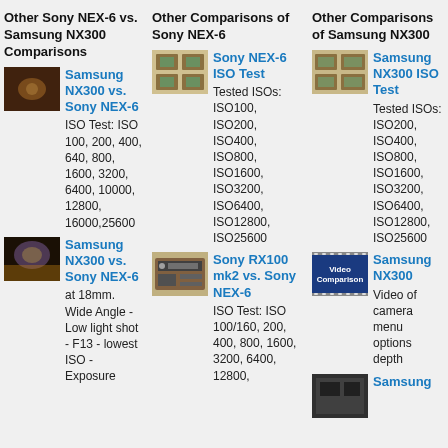Other Sony NEX-6 vs. Samsung NX300 Comparisons
Other Comparisons of Sony NEX-6
Other Comparisons of Samsung NX300
Samsung NX300 vs. Sony NEX-6 ISO Test: ISO 100, 200, 400, 640, 800, 1600, 3200, 6400, 10000, 12800, 16000,25600
Samsung NX300 vs. Sony NEX-6 at 18mm. Wide Angle - Low light shot - F13 - lowest ISO - Exposure
Sony NEX-6 ISO Test Tested ISOs: ISO100, ISO200, ISO400, ISO800, ISO1600, ISO3200, ISO6400, ISO12800, ISO25600
Sony RX100 mk2 vs. Sony NEX-6 ISO Test: ISO 100/160, 200, 400, 800, 1600, 3200, 6400, 12800,
Samsung NX300 ISO Test Tested ISOs: ISO200, ISO400, ISO800, ISO1600, ISO3200, ISO6400, ISO12800, ISO25600
Samsung NX300 Video of camera menu options depth